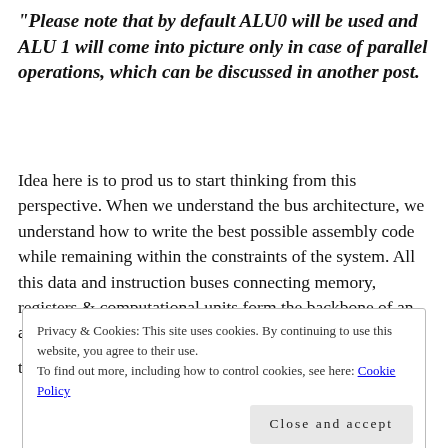"Please note that by default ALU0 will be used and ALU 1 will come into picture only in case of parallel operations, which can be discussed in another post.
Idea here is to prod us to start thinking from this perspective. When we understand the bus architecture, we understand how to write the best possible assembly code while remaining within the constraints of the system. All this data and instruction buses connecting memory, registers & computational units form the backbone of an architecture. This inherently determines the strengths as well as the weakness of the processor.
Privacy & Cookies: This site uses cookies. By continuing to use this website, you agree to their use.
To find out more, including how to control cookies, see here: Cookie Policy
Close and accept